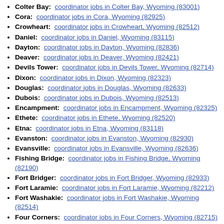Colter Bay: coordinator jobs in Colter Bay, Wyoming (83001)
Cora: coordinator jobs in Cora, Wyoming (82925)
Crowheart: coordinator jobs in Crowheart, Wyoming (82512)
Daniel: coordinator jobs in Daniel, Wyoming (83115)
Dayton: coordinator jobs in Dayton, Wyoming (82836)
Deaver: coordinator jobs in Deaver, Wyoming (82421)
Devils Tower: coordinator jobs in Devils Tower, Wyoming (82714)
Dixon: coordinator jobs in Dixon, Wyoming (82323)
Douglas: coordinator jobs in Douglas, Wyoming (82633)
Dubois: coordinator jobs in Dubois, Wyoming (82513)
Encampment: coordinator jobs in Encampment, Wyoming (82325)
Ethete: coordinator jobs in Ethete, Wyoming (82520)
Etna: coordinator jobs in Etna, Wyoming (83118)
Evanston: coordinator jobs in Evanston, Wyoming (82930)
Evansville: coordinator jobs in Evansville, Wyoming (82636)
Fishing Bridge: coordinator jobs in Fishing Bridge, Wyoming (82190)
Fort Bridger: coordinator jobs in Fort Bridger, Wyoming (82933)
Fort Laramie: coordinator jobs in Fort Laramie, Wyoming (82212)
Fort Washakie: coordinator jobs in Fort Washakie, Wyoming (82514)
Four Corners: coordinator jobs in Four Corners, Wyoming (82715)
Freedom: coordinator jobs in Freedom, Wyoming (83120)
Garrett: coordinator jobs in Garrett, Wyoming (82058)
Gas Hills: coordinator jobs in Gas Hills, Wyoming (82501)
Gillette: coordinator jobs in Gillette, Wyoming (82716) coordinator jobs in Gillette, Wyoming (82731)